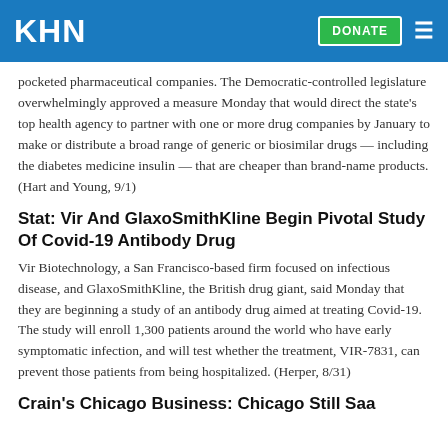KHN | DONATE
pocketed pharmaceutical companies. The Democratic-controlled legislature overwhelmingly approved a measure Monday that would direct the state's top health agency to partner with one or more drug companies by January to make or distribute a broad range of generic or biosimilar drugs — including the diabetes medicine insulin — that are cheaper than brand-name products. (Hart and Young, 9/1)
Stat: Vir And GlaxoSmithKline Begin Pivotal Study Of Covid-19 Antibody Drug
Vir Biotechnology, a San Francisco-based firm focused on infectious disease, and GlaxoSmithKline, the British drug giant, said Monday that they are beginning a study of an antibody drug aimed at treating Covid-19. The study will enroll 1,300 patients around the world who have early symptomatic infection, and will test whether the treatment, VIR-7831, can prevent those patients from being hospitalized. (Herper, 8/31)
Crain's Chicago Business: Chicago Still Saa...